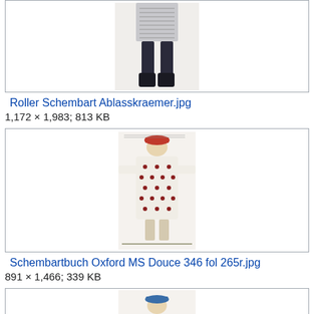[Figure (illustration): Partial view of a historical figure in decorated costume with dark stockings and boots, from Roller Schembart Ablasskraemer illustration]
Roller Schembart Ablasskraemer.jpg
1,172 × 1,983; 813 KB
[Figure (illustration): Historical manuscript illustration of a figure in a decorated white costume with red hat, from Schembartbuch Oxford MS Douce 346 fol 265r]
Schembartbuch Oxford MS Douce 346 fol 265r.jpg
891 × 1,466; 339 KB
[Figure (illustration): Partial view of another historical manuscript illustration of a figure in decorated costume with blue hat]